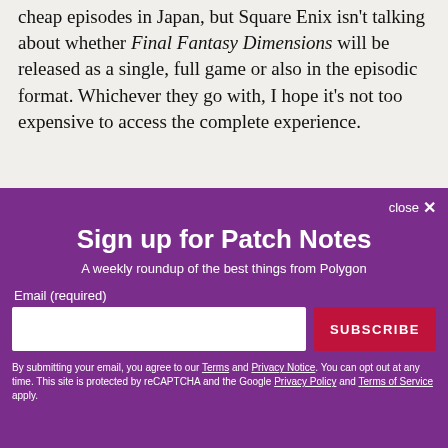cheap episodes in Japan, but Square Enix isn't talking about whether Final Fantasy Dimensions will be released as a single, full game or also in the episodic format. Whichever they go with, I hope it's not too expensive to access the complete experience.
close ✕
Sign up for Patch Notes
A weekly roundup of the best things from Polygon
Email (required)
SUBSCRIBE
By submitting your email, you agree to our Terms and Privacy Notice. You can opt out at any time. This site is protected by reCAPTCHA and the Google Privacy Policy and Terms of Service apply.